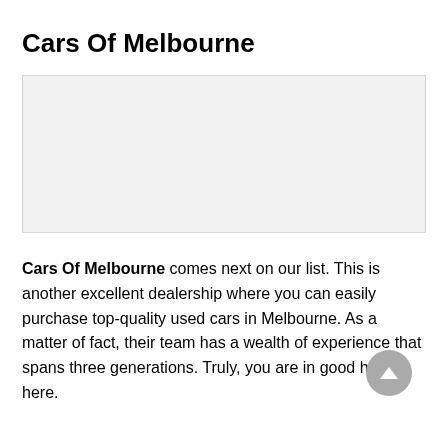Cars Of Melbourne
[Figure (photo): Blank light grey placeholder image area for Cars Of Melbourne dealership]
Cars Of Melbourne comes next on our list. This is another excellent dealership where you can easily purchase top-quality used cars in Melbourne. As a matter of fact, their team has a wealth of experience that spans three generations. Truly, you are in good hands here.